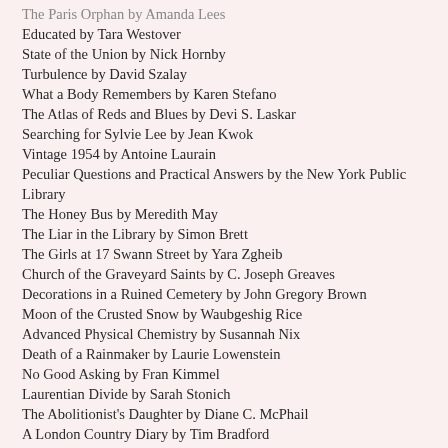The Paris Orphan by Amanda Lees
Educated by Tara Westover
State of the Union by Nick Hornby
Turbulence by David Szalay
What a Body Remembers by Karen Stefano
The Atlas of Reds and Blues by Devi S. Laskar
Searching for Sylvie Lee by Jean Kwok
Vintage 1954 by Antoine Laurain
Peculiar Questions and Practical Answers by the New York Public Library
The Honey Bus by Meredith May
The Liar in the Library by Simon Brett
The Girls at 17 Swann Street by Yara Zgheib
Church of the Graveyard Saints by C. Joseph Greaves
Decorations in a Ruined Cemetery by John Gregory Brown
Moon of the Crusted Snow by Waubgeshig Rice
Advanced Physical Chemistry by Susannah Nix
Death of a Rainmaker by Laurie Lowenstein
No Good Asking by Fran Kimmel
Laurentian Divide by Sarah Stonich
The Abolitionist's Daughter by Diane C. McPhail
A London Country Diary by Tim Bradford
Crazy Cupid Love by Amanda Heger